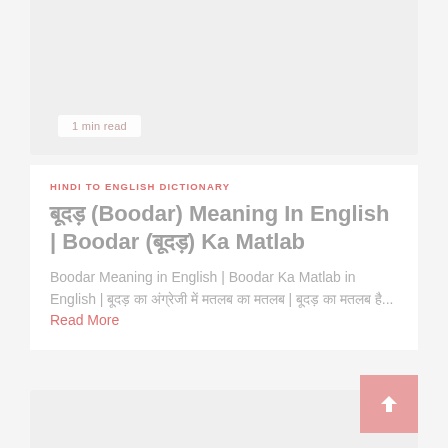[Figure (other): Top card area with light gray background]
1 min read
HINDI TO ENGLISH DICTIONARY
बूदड़ (Boodar) Meaning In English | Boodar (बूदड़) Ka Matlab
Boodar Meaning in English | Boodar Ka Matlab in English | बूदड़ का अंग्रेजी में मतलब का मतलब | बूदड़ का मतलब है... Read More
[Figure (other): Bottom card area with light gray background and scroll-to-top button]